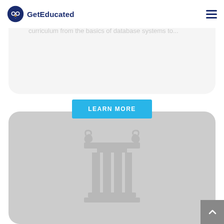GetEducated
Graduate Certificate in Databases offered by ... cover a curriculum from the basics of database systems to...
[Figure (other): LEARN MORE button — cyan/blue rectangular call-to-action button with white uppercase text]
[Figure (illustration): Gray rounded card with a white classical column/pillar icon centered on a gray background]